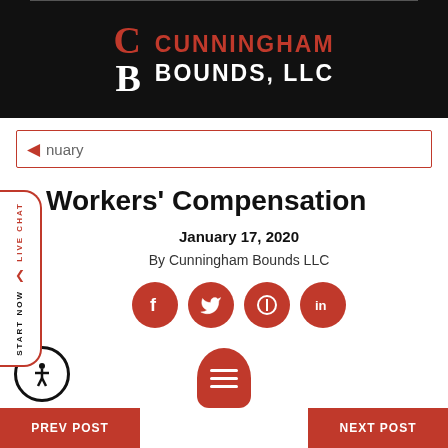[Figure (logo): Cunningham Bounds LLC law firm logo with stylized C and B letters on black background]
January
Workers' Compensation
January 17, 2020
By Cunningham Bounds LLC
[Figure (illustration): Social media share icons: Facebook, Twitter, Pinterest, LinkedIn - red circles with white icons]
[Figure (illustration): Accessibility button (wheelchair icon) and live chat floating button]
PREV POST   NEXT POST